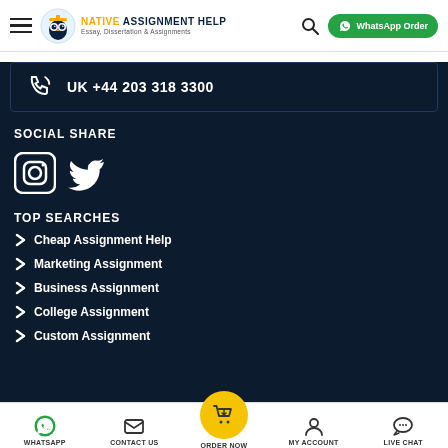Native Assignment Help — Essay, Dissertation & Assignments | WhatsApp Order
UK +44 203 318 3300
SOCIAL SHARE
[Figure (logo): Instagram and Twitter social media icons]
TOP SEARCHES
Cheap Assignment Help
Marketing Assignment
Business Assignment
College Assignment
Custom Assignment
WHATSAPP | CONTACT US | ORDER NOW | MY ACCOUNT | LIVE CHAT